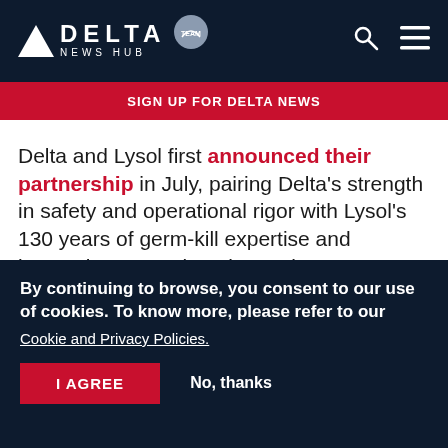DELTA NEWS HUB
SIGN UP FOR DELTA NEWS
Delta and Lysol first announced their partnership in July, pairing Delta's strength in safety and operational rigor with Lysol's 130 years of germ-kill expertise and innovation to continue improving on Delta CareStandard protocols launched during the COVID-19 pandemic. We hosted their...
By continuing to browse, you consent to our use of cookies. To know more, please refer to our Cookie and Privacy Policies.